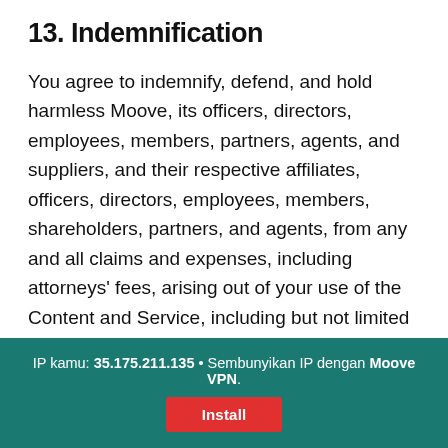13. Indemnification
You agree to indemnify, defend, and hold harmless Moove, its officers, directors, employees, members, partners, agents, and suppliers, and their respective affiliates, officers, directors, employees, members, shareholders, partners, and agents, from any and all claims and expenses, including attorneys' fees, arising out of your use of the Content and Service, including but not limited to your violation of this Agreement. We may, at our sole discretion, assume the exclusive defense and control of any matter subject to indemnification by
IP kamu: 35.175.211.135 • Sembunyikan IP dengan Moove VPN. Install